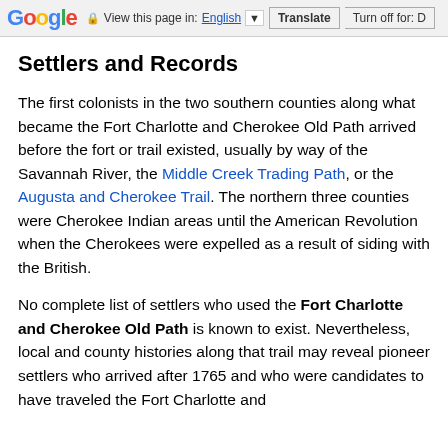Google — View this page in: English | Translate | Turn off for: D
Settlers and Records
The first colonists in the two southern counties along what became the Fort Charlotte and Cherokee Old Path arrived before the fort or trail existed, usually by way of the Savannah River, the Middle Creek Trading Path, or the Augusta and Cherokee Trail. The northern three counties were Cherokee Indian areas until the American Revolution when the Cherokees were expelled as a result of siding with the British.
No complete list of settlers who used the Fort Charlotte and Cherokee Old Path is known to exist. Nevertheless, local and county histories along that trail may reveal pioneer settlers who arrived after 1765 and who were candidates to have traveled the Fort Charlotte and